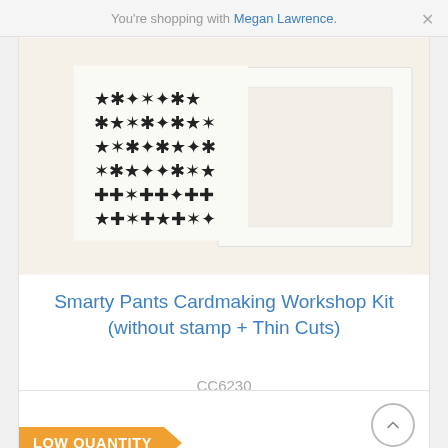You're shopping with Megan Lawrence.
[Figure (photo): Product image showing cardmaking stamps with star and cross patterns on dark background, with white cardstock pieces next to it]
Smarty Pants Cardmaking Workshop Kit (without stamp + Thin Cuts)
CC6230
$37.50
Add to Cart
LOW QUANTITY